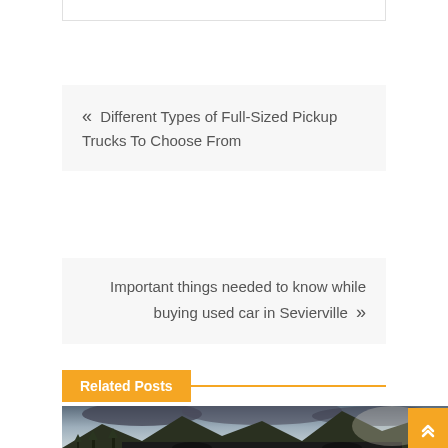« Different Types of Full-Sized Pickup Trucks To Choose From
Important things needed to know while buying used car in Sevierville »
Related Posts
[Figure (photo): A dark sports car parked in front of a dramatic mountain landscape with cloudy sky and pine trees]